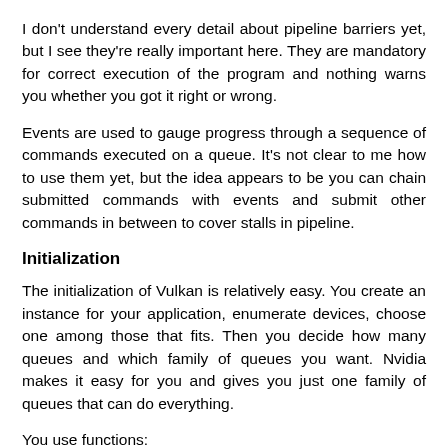I don't understand every detail about pipeline barriers yet, but I see they're really important here. They are mandatory for correct execution of the program and nothing warns you whether you got it right or wrong.
Events are used to gauge progress through a sequence of commands executed on a queue. It's not clear to me how to use them yet, but the idea appears to be you can chain submitted commands with events and submit other commands in between to cover stalls in pipeline.
Initialization
The initialization of Vulkan is relatively easy. You create an instance for your application, enumerate devices, choose one among those that fits. Then you decide how many queues and which family of queues you want. Nvidia makes it easy for you and gives you just one family of queues that can do everything.
You use functions: